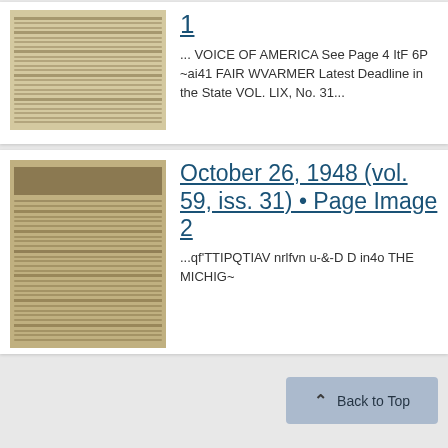[Figure (photo): Thumbnail of a historic newspaper page, yellowed/aged, showing dense columns of text]
1
... VOICE OF AMERICA See Page 4 ItF 6P ~ai41 FAIR WVARMER Latest Deadline in the State VOL. LIX, No. 31...
[Figure (photo): Thumbnail of a historic newspaper front page dated October 26, 1948, with photograph and dense columns of text]
October 26, 1948 (vol. 59, iss. 31) • Page Image 2
...qf'TTIPQTIAV nrlfvn u-&-D D in4o THE MICHIG~